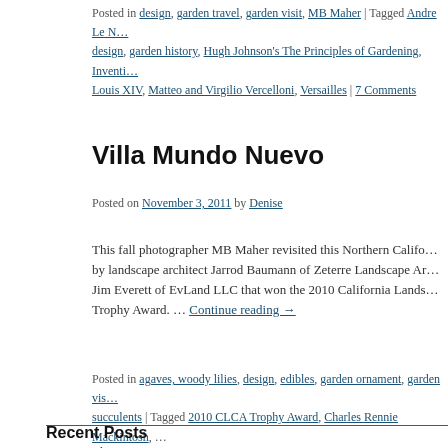Posted in design, garden travel, garden visit, MB Maher | Tagged Andre Le N… design, garden history, Hugh Johnson's The Principles of Gardening, Inventi… Louis XIV, Matteo and Virgilio Vercelloni, Versailles | 7 Comments
Villa Mundo Nuevo
Posted on November 3, 2011 by Denise
This fall photographer MB Maher revisited this Northern Califo… by landscape architect Jarrod Baumann of Zeterre Landscape Ar… Jim Everett of EvLand LLC that won the 2010 California Lands… Trophy Award. … Continue reading →
Posted in agaves, woody lilies, design, edibles, garden ornament, garden vis… succulents | Tagged 2010 CLCA Trophy Award, Charles Rennie Mackintosh, … Jarrod Baumann, Jim Everett, landscape architecture, Laura Livengood Scha… California, Villa Mundo Nuevo, Zeterre Landscape Architecture | 9 Comments
Recent Posts
two gardens August 2022